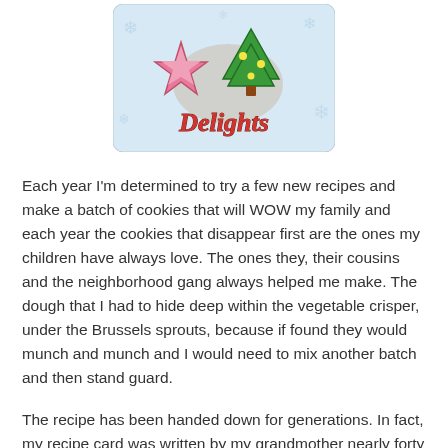[Figure (illustration): Cookie Delights logo: light blue rounded square background with snowflake pattern, a pink star-shaped cookie and a green Christmas tree-shaped cookie decorated with yellow dots, and the word 'Delights' in red decorative italic font below the cookies.]
Each year I'm determined to try a few new recipes and make a batch of cookies that will WOW my family and each year the cookies that disappear first are the ones my children have always love. The ones they, their cousins and the neighborhood gang always helped me make. The dough that I had to hide deep within the vegetable crisper, under the Brussels sprouts, because if found they would munch and munch and I would need to mix another batch and then stand guard.
The recipe has been handed down for generations. In fact, my recipe card was written by my grandmother nearly forty